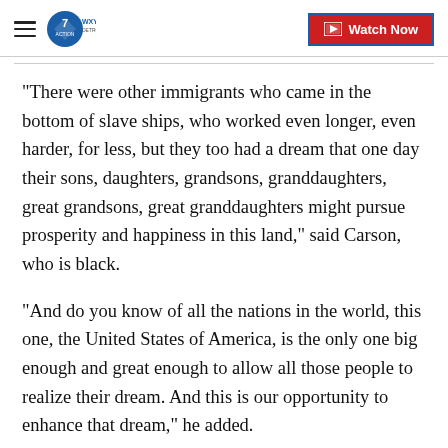WXYZ Detroit - Watch Now
"There were other immigrants who came in the bottom of slave ships, who worked even longer, even harder, for less, but they too had a dream that one day their sons, daughters, grandsons, granddaughters, great grandsons, great granddaughters might pursue prosperity and happiness in this land," said Carson, who is black.
"And do you know of all the nations in the world, this one, the United States of America, is the only one big enough and great enough to allow all those people to realize their dream. And this is our opportunity to enhance that dream," he added.